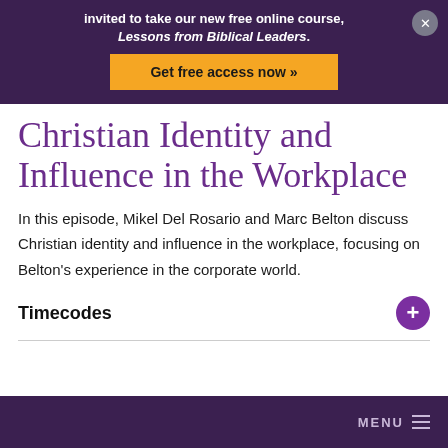invited to take our new free online course, Lessons from Biblical Leaders.
Get free access now »
Christian Identity and Influence in the Workplace
In this episode, Mikel Del Rosario and Marc Belton discuss Christian identity and influence in the workplace, focusing on Belton's experience in the corporate world.
Timecodes
MENU